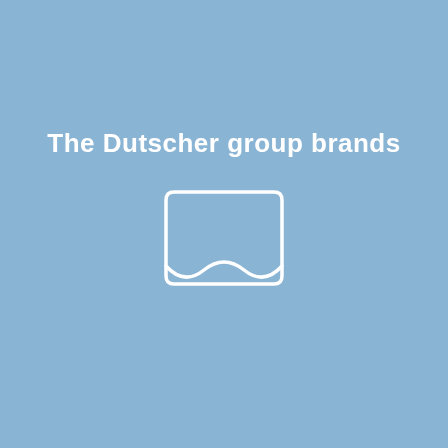The Dutscher group brands
[Figure (logo): A white outline icon of a landscape/photo placeholder — a rounded rectangle with a wavy bottom edge, resembling an image frame icon, rendered in white outline on the blue background.]